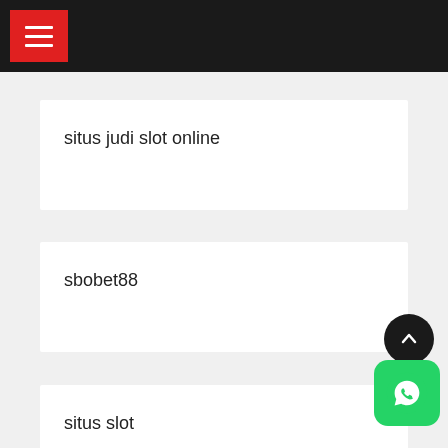situs judi slot online
sbobet88
situs slot
SBOBET